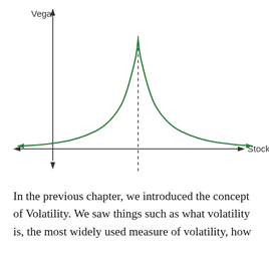[Figure (continuous-plot): A bell-curve shaped plot of Vega (y-axis) vs Stock (x-axis). The curve peaks at the center where a dashed vertical line is drawn. The green curve rises from near zero on the left, peaks at the center, and tails off to near zero on the right. Axes have arrows: x-axis arrows point left and right (with 'Stock' label on right), y-axis arrow points up (with 'Vega' label) and down.]
In the previous chapter, we introduced the concept of Volatility. We saw things such as what volatility is, the most widely used measure of volatility, how